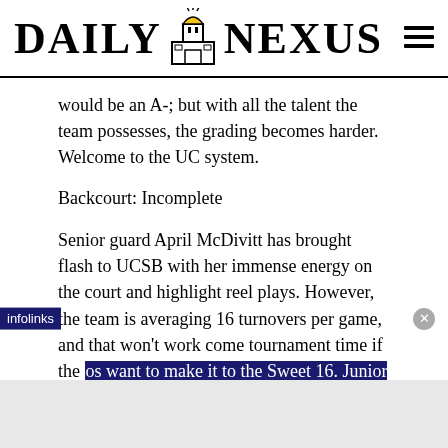DAILY NEXUS
would be an A-; but with all the talent the team possesses, the grading becomes harder. Welcome to the UC system.
Backcourt: Incomplete
Senior guard April McDivitt has brought flash to UCSB with her immense energy on the court and highlight reel plays. However, the team is averaging 16 turnovers per game, and that won't work come tournament time if the os want to make it to the Sweet 16. Junior guard